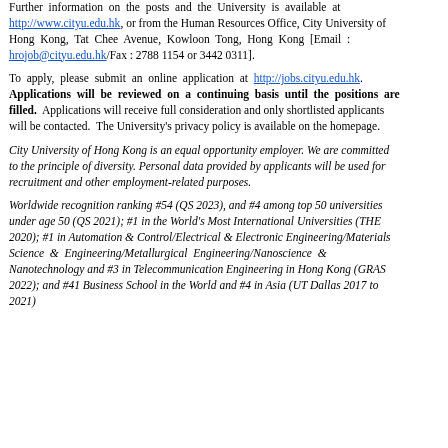Further information on the posts and the University is available at http://www.cityu.edu.hk, or from the Human Resources Office, City University of Hong Kong, Tat Chee Avenue, Kowloon Tong, Hong Kong [Email : hrojob@cityu.edu.hk/Fax : 2788 1154 or 3442 0311].
To apply, please submit an online application at http://jobs.cityu.edu.hk. Applications will be reviewed on a continuing basis until the positions are filled. Applications will receive full consideration and only shortlisted applicants will be contacted. The University's privacy policy is available on the homepage.
City University of Hong Kong is an equal opportunity employer. We are committed to the principle of diversity. Personal data provided by applicants will be used for recruitment and other employment-related purposes.
Worldwide recognition ranking #54 (QS 2023), and #4 among top 50 universities under age 50 (QS 2021); #1 in the World's Most International Universities (THE 2020); #1 in Automation & Control/Electrical & Electronic Engineering/Materials Science & Engineering/Metallurgical Engineering/Nanoscience & Nanotechnology and #3 in Telecommunication Engineering in Hong Kong (GRAS 2022); and #41 Business School in the World and #4 in Asia (UT Dallas 2017 to 2021)